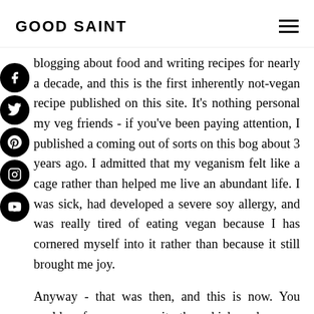GOOD SAINT
blogging about food and writing recipes for nearly a decade, and this is the first inherently not-vegan recipe published on this site. It's nothing personal my veg friends - if you've been paying attention, I published a coming out of sorts on this bog about 3 years ago. I admitted that my veganism felt like a cage rather than helped me live an abundant life. I was sick, had developed a severe soy allergy, and was really tired of eating vegan because I has cornered myself into it rather than because it still brought me joy.
Anyway - that was then, and this is now. You could, of course, omit the chicken here or substitute it for meat-free variation, but it works well in this recipe. I like the